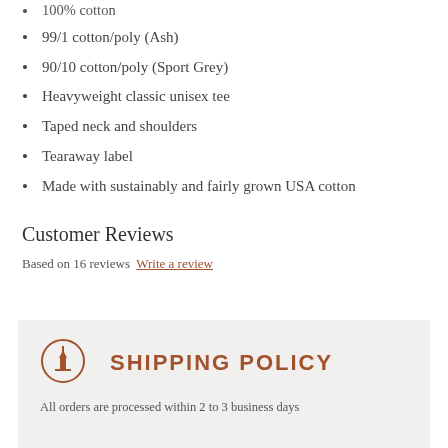100% cotton
99/1 cotton/poly (Ash)
90/10 cotton/poly (Sport Grey)
Heavyweight classic unisex tee
Taped neck and shoulders
Tearaway label
Made with sustainably and fairly grown USA cotton
Customer Reviews
Based on 16 reviews Write a review
SHIPPING POLICY
All orders are processed within 2 to 3 business days